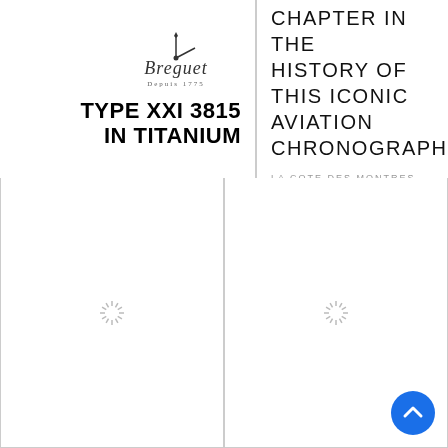[Figure (logo): Hamburger menu button - blue circle with three horizontal lines]
[Figure (logo): La Cote Des Montres circular logo - black and white with LG letters]
[Figure (logo): Breguet brand logo with clock hands illustration and cursive text 'Breguet Depuis 1775']
TYPE XXI 3815 IN TITANIUM
A NEW CHAPTER IN THE HISTORY OF THIS ICONIC AVIATION CHRONOGRAPH
LA COTE DES MONTRES NEWS - JUNE 17TH, 2021
[Figure (photo): Loading placeholder - left image panel with spinning loader icon]
[Figure (photo): Loading placeholder - right image panel with spinning loader icon]
[Figure (logo): Scroll to top button - blue circle with upward chevron]